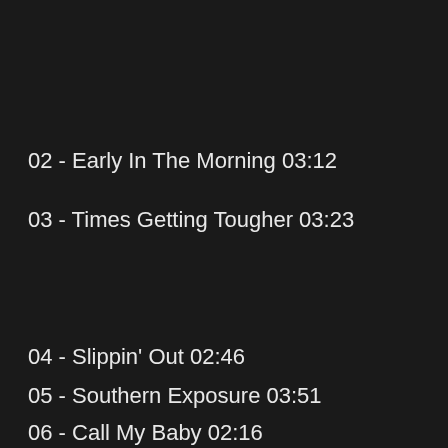02 - Early In The Morning 03:12
03 - Times Getting Tougher 03:23
04 - Slippin' Out 02:46
05 - Southern Exposure 03:51
06 - Call My Baby 02:16